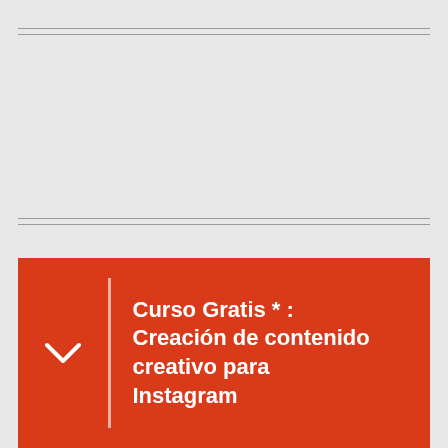[Figure (other): Gray background area with two double horizontal lines (top and bottom decorative separators) on a light gray background, representing the upper portion of a course card or banner.]
Curso Gratis * : Creación de contenido creativo para Instagram